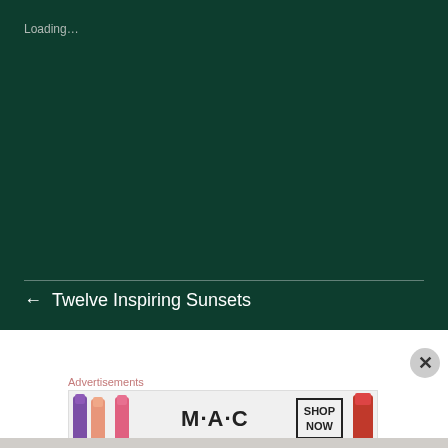Loading…
[Figure (screenshot): Dark green loading screen area]
← Twelve Inspiring Sunsets
STILL not king →
Advertisements
[Figure (photo): MAC cosmetics advertisement banner showing colorful lipsticks, MAC brand name, and SHOP NOW button]